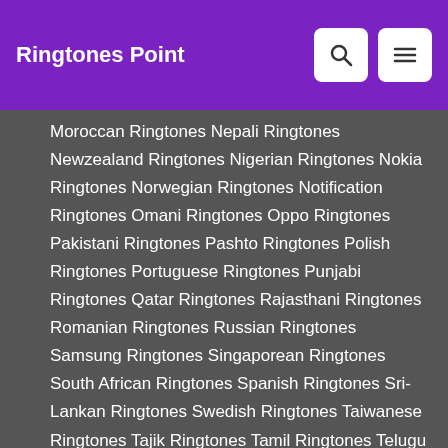Ringtones Point
Moroccan Ringtones Nepali Ringtones Newzealand Ringtones Nigerian Ringtones Nokia Ringtones Norwegian Ringtones Notification Ringtones Omani Ringtones Oppo Ringtones Pakistani Ringtones Pashto Ringtones Polish Ringtones Portuguese Ringtones Punjabi Ringtones Qatar Ringtones Rajasthani Ringtones Romanian Ringtones Russian Ringtones Samsung Ringtones Singaporean Ringtones South African Ringtones Spanish Ringtones Sri-Lankan Ringtones Swedish Ringtones Taiwanese Ringtones Tajik Ringtones Tamil Ringtones Telugu Ringtones Turkish Ringtones Ugandan Ringtones Uzbek Ringtones Vietnamese Ringtones
Legal
Privacy Policy
DMCA
Terms of Service
Contact Us